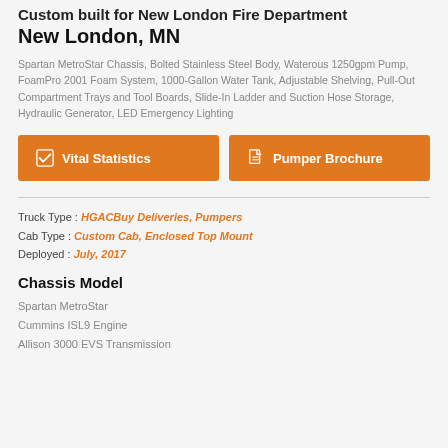Custom built for New London Fire Department New London, MN
Spartan MetroStar Chassis, Bolted Stainless Steel Body, Waterous 1250gpm Pump, FoamPro 2001 Foam System, 1000-Gallon Water Tank, Adjustable Shelving, Pull-Out Compartment Trays and Tool Boards, Slide-In Ladder and Suction Hose Storage, Hydraulic Generator, LED Emergency Lighting
[Figure (other): Two orange buttons: 'Vital Statistics' with checkmark icon and 'Pumper Brochure' with document icon]
Truck Type : HGACBuy Deliveries, Pumpers
Cab Type : Custom Cab, Enclosed Top Mount
Deployed : July, 2017
Chassis Model
Spartan MetroStar
Cummins ISL9 Engine
Allison 3000 EVS Transmission